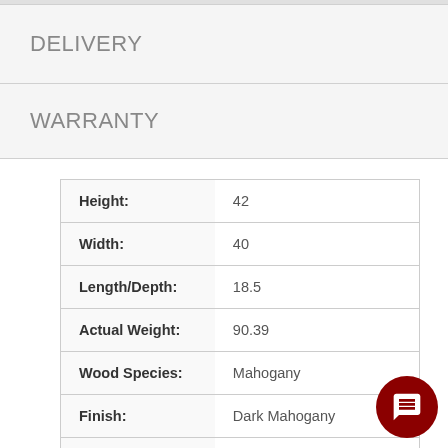DELIVERY
WARRANTY
| Attribute | Value |
| --- | --- |
| Height: | 42 |
| Width: | 40 |
| Length/Depth: | 18.5 |
| Actual Weight: | 90.39 |
| Wood Species: | Mahogany |
| Finish: | Dark Mahogany |
| Wood Tone: | Dark |
| Distressing: | Yes |
| Color: | Espresso |